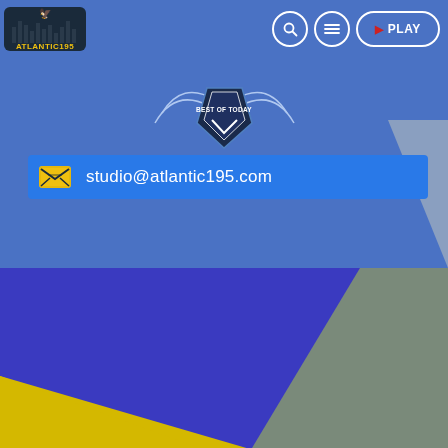[Figure (screenshot): Atlantic195 radio/media website screenshot showing navigation bar with logo, search, menu, and play buttons, a 'Best of Today' badge emblem, an email contact bar with studio@atlantic195.com, and a colorful geometric background with blue, gray, and yellow diagonal sections.]
studio@atlantic195.com